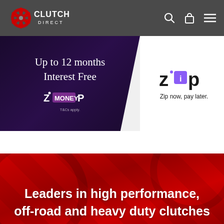[Figure (logo): Clutch Direct logo in header - white text with red circular clutch graphic]
[Figure (screenshot): Promotional banner: dark purple background with text 'Up to 12 months Interest Free' and ZipMoney logo. T&Cs apply.]
[Figure (logo): Zip logo on white background with text 'Zip now, pay later.']
[Figure (photo): Red section showing clutch disc components with overlay text 'Leaders in high performance, off-road and heavy duty clutches']
Leaders in high performance, off-road and heavy duty clutches